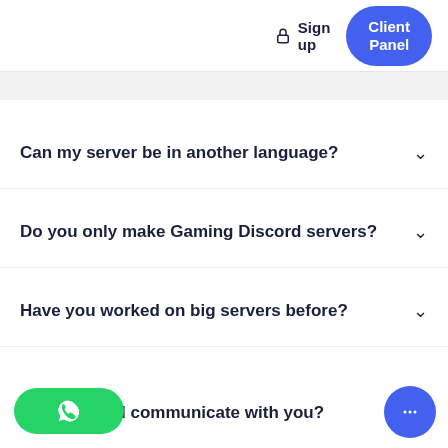Sign up  Client Panel
Can my server be in another language?
Do you only make Gaming Discord servers?
Have you worked on big servers before?
How should I communicate with you?